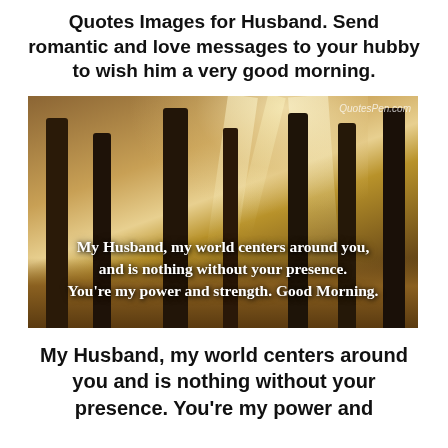Quotes Images for Husband. Send romantic and love messages to your hubby to wish him a very good morning.
[Figure (photo): A sunlit autumn forest with tall dark tree trunks, warm golden-brown ground, and rays of light streaming through the trees. Overlaid white text reads: My Husband, my world centers around you, and is nothing without your presence. You're my power and strength. Good Morning. Watermark: QuotesPen.com]
My Husband, my world centers around you and is nothing without your presence. You're my power and